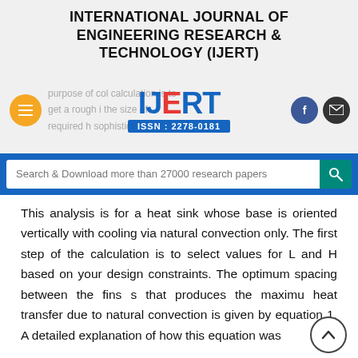INTERNATIONAL JOURNAL OF ENGINEERING RESEARCH & TECHNOLOGY (IJERT)
[Figure (logo): IJERT logo with ISSN: 2278-0181 on blue badge, orange hamburger menu button on left, Facebook and email icons on right, faint background text about purpose of calculation and heat sink size]
Search & Download more than 27000 research papers
This analysis is for a heat sink whose base is oriented vertically with cooling via natural convection only. The first step of the calculation is to select values for L and H based on your design constraints. The optimum spacing between the fins s that produces the maximu heat transfer due to natural convection is given by equation 1. A detailed explanation of how this equation was